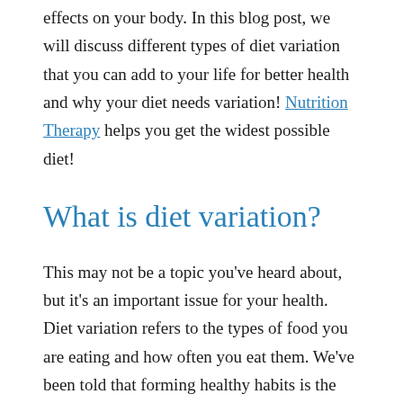effects on your body. In this blog post, we will discuss different types of diet variation that you can add to your life for better health and why your diet needs variation! Nutrition Therapy helps you get the widest possible diet!
What is diet variation?
This may not be a topic you've heard about, but it's an important issue for your health. Diet variation refers to the types of food you are eating and how often you eat them. We've been told that forming healthy habits is the best way to make healthy choices easier, but habits can also make us feel stuck. We often give up on diet plans because we feel too deprived or restricted. The real problem is they quit working because our bodies